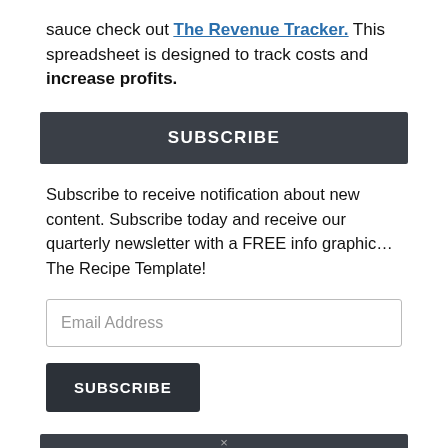sauce check out The Revenue Tracker. This spreadsheet is designed to track costs and increase profits.
SUBSCRIBE
Subscribe to receive notification about new content. Subscribe today and receive our quarterly newsletter with a FREE info graphic…The Recipe Template!
Email Address
SUBSCRIBE
ARCHIVES